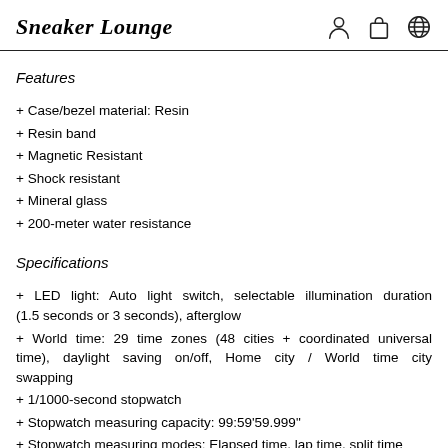Sneaker Lounge
Features
+ Case/bezel material: Resin
+ Resin band
+ Magnetic Resistant
+ Shock resistant
+ Mineral glass
+ 200-meter water resistance
Specifications
+ LED light: Auto light switch, selectable illumination duration (1.5 seconds or 3 seconds), afterglow
+ World time: 29 time zones (48 cities + coordinated universal time), daylight saving on/off, Home city / World time city swapping
+ 1/1000-second stopwatch
+ Stopwatch measuring capacity: 99:59'59.999"
+ Stopwatch measuring modes: Elapsed time, lap time, split time
+ Stopwatch other: Speed (0 to 1998 units/hour), Distance input